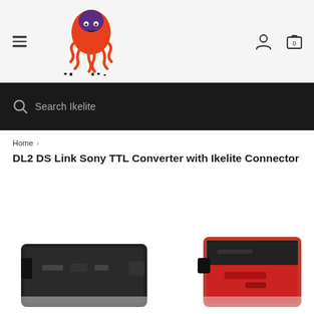ikelite
Search Ikelite
Home > DL2 DS Link Sony TTL Converter with Ikelite Connector
DL2 DS Link Sony TTL Converter with Ikelite Connector
[Figure (photo): Product photo of DL2 DS Link Sony TTL Converter with Ikelite Connector — black and red connector device shown at bottom of page]